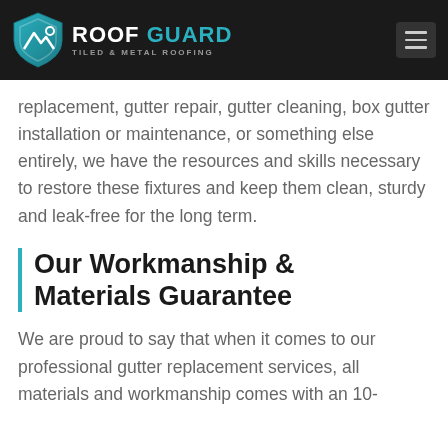[Figure (logo): Roof Guard Tiled & Metal Roofing logo with shield icon and hamburger menu button on dark header bar]
replacement, gutter repair, gutter cleaning, box gutter installation or maintenance, or something else entirely, we have the resources and skills necessary to restore these fixtures and keep them clean, sturdy and leak-free for the long term.
Our Workmanship & Materials Guarantee
We are proud to say that when it comes to our professional gutter replacement services, all materials and workmanship comes with an 10-